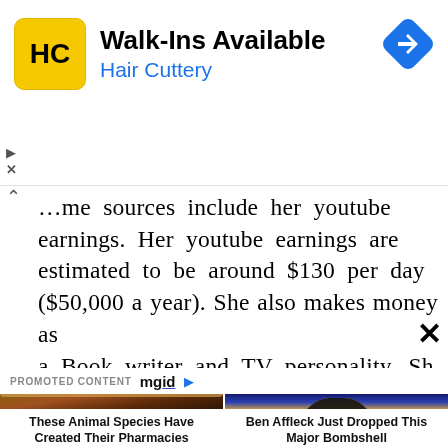[Figure (screenshot): Hair Cuttery advertisement banner with HC logo, 'Walk-Ins Available' heading and blue navigation arrow icon]
...me sources include her youtube earnings. Her youtube earnings are estimated to be around $130 per day ($50,000 a year). She also makes money as a Book writer and TV personality. Sh
PROMOTED CONTENT mgid
[Figure (photo): Photo of a woolly bear caterpillar on a human hand]
These Animal Species Have Created Their Pharmacies
[Figure (photo): Photo of a woman (Jennifer Lopez) looking serious against blue background]
Ben Affleck Just Dropped This Major Bombshell